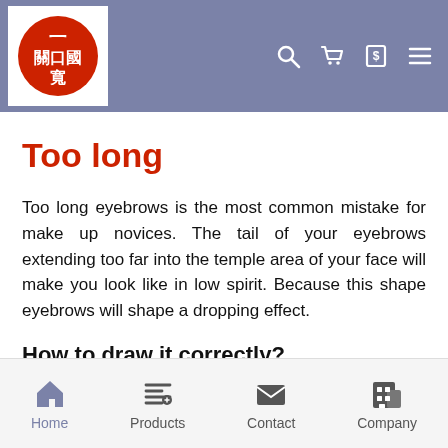Navigation bar with logo and icons (search, cart, receipt, menu)
Too long
Too long eyebrows is the most common mistake for make up novices. The tail of your eyebrows extending too far into the temple area of your face will make you look like in low spirit. Because this shape eyebrows will shape a dropping effect.
How to draw it correctly?
When filling in the eyebrow, line your pencil from the point
Home | Products | Contact | Company